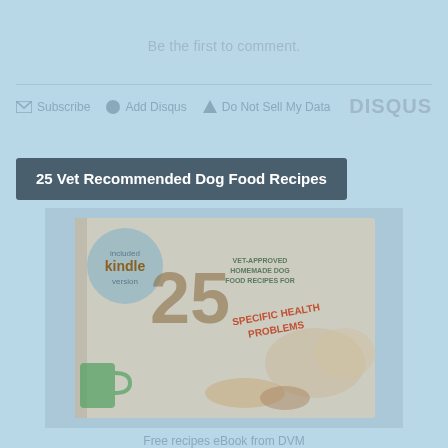Be the first to comment.
Subscribe   Add Disqus   Do Not Sell My Data   DISQUS
25 Vet Recommended Dog Food Recipes
[Figure (photo): Book cover of '25 Vet-Approved Homemade Dog Food Recipes for Specific Health Problems' with kindle badge and dogs photo]
Free recipes eBook from DVM
GET IT HERE